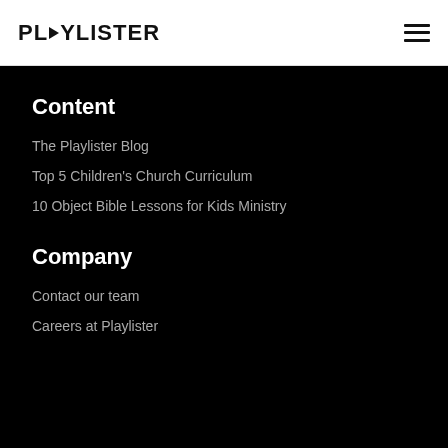PLYLISTER
Content
The Playlister Blog
Top 5 Children's Church Curriculum
10 Object Bible Lessons for Kids Ministry
Company
Contact our team
Careers at Playlister